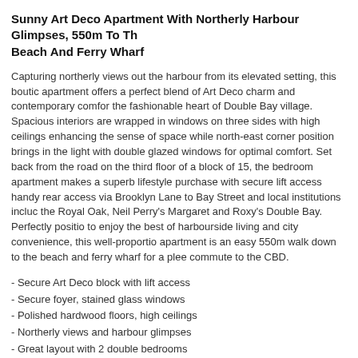Sunny Art Deco Apartment With Northerly Harbour Glimpses, 550m To The Beach And Ferry Wharf
Capturing northerly views out the harbour from its elevated setting, this boutique apartment offers a perfect blend of Art Deco charm and contemporary comfort in the fashionable heart of Double Bay village. Spacious interiors are wrapped in windows on three sides with high ceilings enhancing the sense of space while the north-east corner position brings in the light with double glazed windows for optimal comfort. Set back from the road on the third floor of a block of 15, the bedroom apartment makes a superb lifestyle purchase with secure lift access and handy rear access via Brooklyn Lane to Bay Street and local institutions including the Royal Oak, Neil Perry's Margaret and Roxy's Double Bay. Perfectly positioned to enjoy the best of harbourside living and city convenience, this well-proportioned apartment is an easy 550m walk down to the beach and ferry wharf for a pleasant commute to the CBD.
- Secure Art Deco block with lift access
- Secure foyer, stained glass windows
- Polished hardwood floors, high ceilings
- Northerly views and harbour glimpses
- Great layout with 2 double bedrooms
- King-sized main bed with built-in robes
- 2nd bedroom with a northerly outlook
- Large living room, RealFlame fireplace
- Bright eat-in kitchen with a breakfast bar
- Timber benchtops, European laundry
- Good-sized bathroom with a spa bath